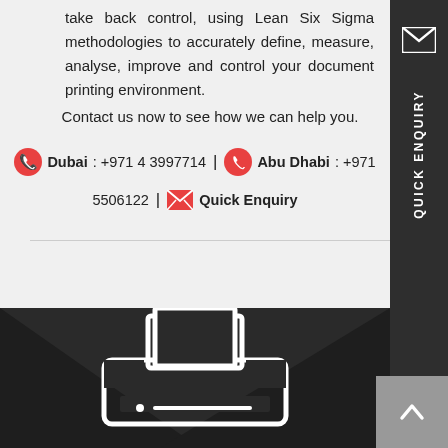take back control, using Lean Six Sigma methodologies to accurately define, measure, analyse, improve and control your document printing environment.
Contact us now to see how we can help you.
Dubai: +971 4 3997714 | Abu Dhabi: +971 5506122 | Quick Enquiry
[Figure (illustration): Dark background printer icon illustration]
[Figure (illustration): Sidebar with email icon and Quick Enquiry vertical label, and back-to-top arrow button]